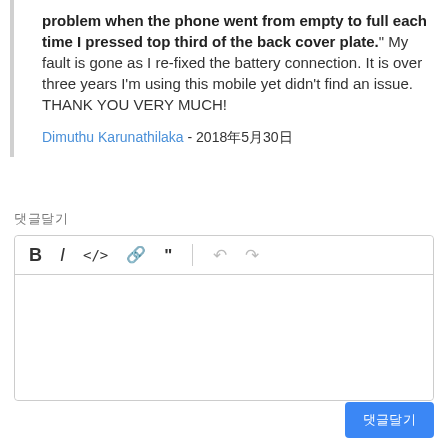problem when the phone went from empty to full each time I pressed top third of the back cover plate." My fault is gone as I re-fixed the battery connection. It is over three years I'm using this mobile yet didn't find an issue. THANK YOU VERY MUCH!
Dimuthu Karunathilaka - 2018年5月30日
댓글달기
[Figure (screenshot): A text editor toolbar with icons: Bold (B), Italic (I), Code (</>), Link (chain icon), Quote ("), Undo, Redo buttons. Below is an empty text input area.]
댓글달기 (submit button)